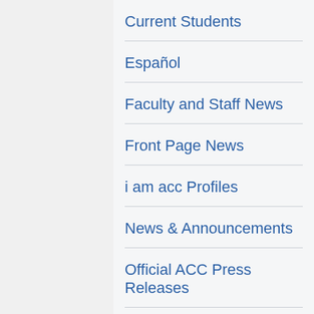Current Students
Español
Faculty and Staff News
Front Page News
i am acc Profiles
News & Announcements
Official ACC Press Releases
Students & Alumni